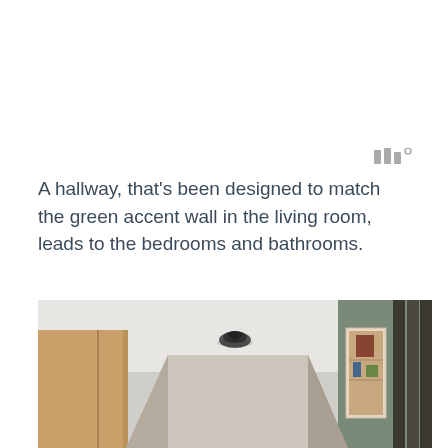[Figure (logo): Small logo mark with three vertical bars and a degree symbol, in gray]
A hallway, that's been designed to match the green accent wall in the living room, leads to the bedrooms and bathrooms.
[Figure (photo): Interior hallway photo showing a long corridor with a dome security camera on the white ceiling, wooden cabinet doors on the left, a green accent wall with framed artwork on the right, and dark vertical slat panels at the far right end.]